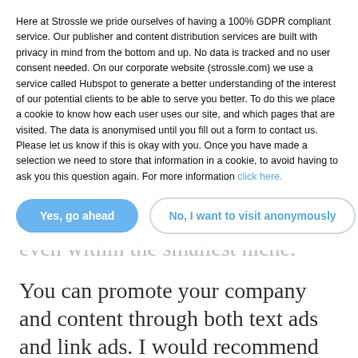Here at Strossle we pride ourselves of having a 100% GDPR compliant service. Our publisher and content distribution services are built with privacy in mind from the bottom and up. No data is tracked and no user consent needed. On our corporate website (strossle.com) we use a service called Hubspot to generate a better understanding of the interest of our potential clients to be able to serve you better. To do this we place a cookie to know how each user uses our site, and which pages that are visited. The data is anonymised until you fill out a form to contact us. Please let us know if this is okay with you. Once you have made a selection we need to store that information in a cookie, to avoid having to ask you this question again. For more information click here.
[Figure (other): Two buttons: 'Yes, go ahead' (blue filled, rounded) and 'No, I want to visit anonymously' (white with blue border, rounded)]
enthusiastic and dedicated crowd, even within the smallest niche.
You can promote your company and content through both text ads and link ads. I would recommend link ads as it will